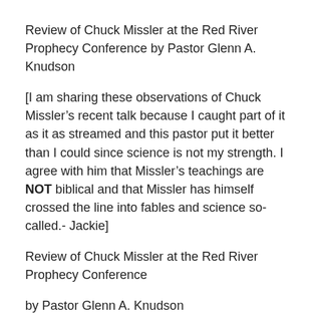Review of Chuck Missler at the Red River Prophecy Conference by Pastor Glenn A. Knudson
[I am sharing these observations of Chuck Missler’s recent talk because I caught part of it as it as streamed and this pastor put it better than I could since science is not my strength. I agree with him that Missler’s teachings are NOT biblical and that Missler has himself crossed the line into fables and science so-called.- Jackie]
Review of Chuck Missler at the Red River Prophecy Conference
by Pastor Glenn A. Knudson
I have been able to listen to all of the first talk by Chuck Missler, Macrocosm, and most of the second talk,